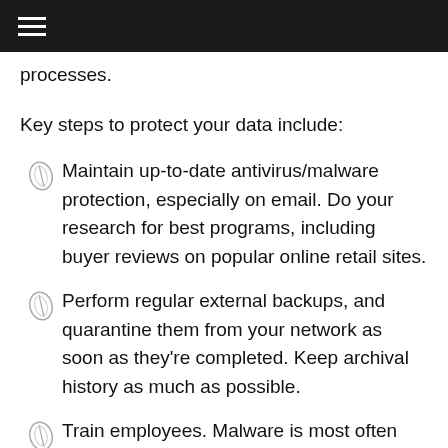☰
processes.
Key steps to protect your data include:
Maintain up-to-date antivirus/malware protection, especially on email. Do your research for best programs, including buyer reviews on popular online retail sites.
Perform regular external backups, and quarantine them from your network as soon as they're completed. Keep archival history as much as possible.
Train employees. Malware is most often spread by human behavior, e.g. clicking an email phishing link or social media